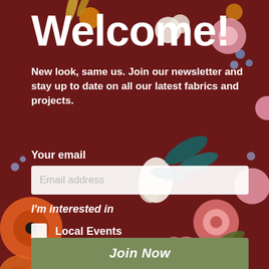[Figure (illustration): Dark burgundy/maroon floral pattern background with colorful flowers (orange, pink, white, blue), leaves, and botanical elements in a dense, decorative print style.]
Welcome!
New look, same us. Join our newsletter and stay up to date on all our latest fabrics and projects.
Your email
Email address
I'm interested in
Local Events
New Fabrics
Deals and Sales
Join Now